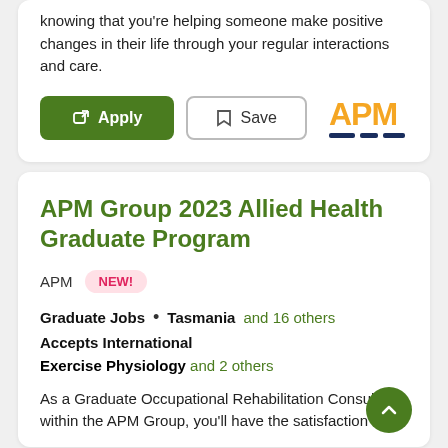knowing that you're helping someone make positive changes in their life through your regular interactions and care.
[Figure (screenshot): Apply button (green) and Save button (outlined) with APM logo to the right]
APM Group 2023 Allied Health Graduate Program
APM  NEW!
Graduate Jobs • Tasmania and 16 others
Accepts International
Exercise Physiology and 2 others
As a Graduate Occupational Rehabilitation Consultant within the APM Group, you'll have the satisfaction of